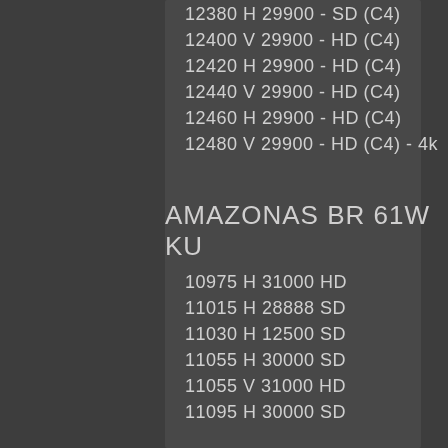12380 H 29900 - SD (C4)
12400 V 29900 - HD (C4)
12420 H 29900 - HD (C4)
12440 V 29900 - HD (C4)
12460 H 29900 - HD (C4)
12480 V 29900 - HD (C4) - 4k
AMAZONAS BR 61W KU
10975 H 31000 HD
11015 H 28888 SD
11030 H 12500 SD
11055 H 30000 SD
11055 V 31000 HD
11095 H 30000 SD
11095 V 31000 HD
11135 H 30000 SD
11135 V 30000 HD
11165 H 13000 SD
11175 H 30000 HD
11175 V 31000 HD
11185 V 15800 HD
11220 V 31000 HD